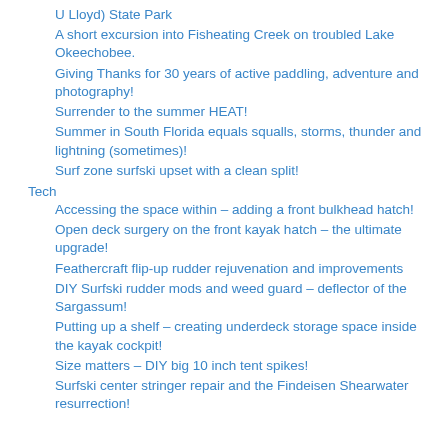U Lloyd) State Park
A short excursion into Fisheating Creek on troubled Lake Okeechobee.
Giving Thanks for 30 years of active paddling, adventure and photography!
Surrender to the summer HEAT!
Summer in South Florida equals squalls, storms, thunder and lightning (sometimes)!
Surf zone surfski upset with a clean split!
Tech
Accessing the space within – adding a front bulkhead hatch!
Open deck surgery on the front kayak hatch – the ultimate upgrade!
Feathercraft flip-up rudder rejuvenation and improvements
DIY Surfski rudder mods and weed guard – deflector of the Sargassum!
Putting up a shelf – creating underdeck storage space inside the kayak cockpit!
Size matters – DIY big 10 inch tent spikes!
Surfski center stringer repair and the Findeisen Shearwater resurrection!